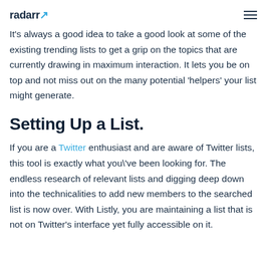radarr
It's always a good idea to take a good look at some of the existing trending lists to get a grip on the topics that are currently drawing in maximum interaction. It lets you be on top and not miss out on the many potential 'helpers' your list might generate.
Setting Up a List.
If you are a Twitter enthusiast and are aware of Twitter lists, this tool is exactly what you\'ve been looking for. The endless research of relevant lists and digging deep down into the technicalities to add new members to the searched list is now over. With Listly, you are maintaining a list that is not on Twitter's interface yet fully accessible on it.